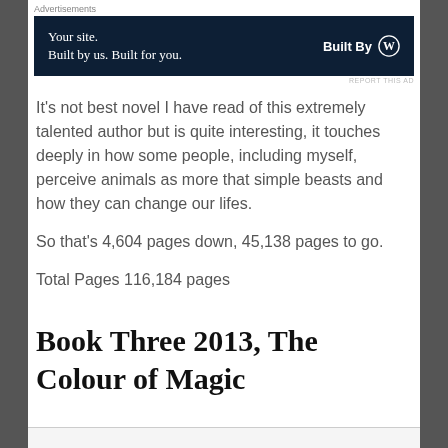Advertisements
[Figure (other): WordPress advertisement banner: 'Your site. Built by us. Built for you.' with 'Built By WordPress' logo on dark navy background]
REPORT THIS AD
It's not best novel I have read of this extremely talented author but is quite interesting, it touches deeply in how some people, including myself, perceive animals as more that simple beasts and how they can change our lifes.
So that's 4,604 pages down, 45,138 pages to go.
Total Pages 116,184 pages
Book Three 2013, The Colour of Magic